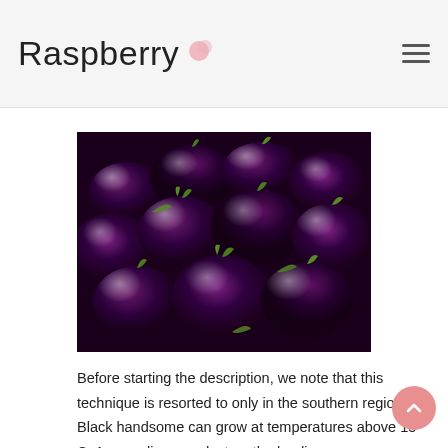Raspberry
[Figure (photo): Close-up photo of multiple dark purple/black eggplants (aubergines) with green stems, piled together]
Before starting the description, we note that this technique is resorted to only in the southern regions. Black handsome can grow at temperatures above 15 ° C. Any cooling can destroy the landing.